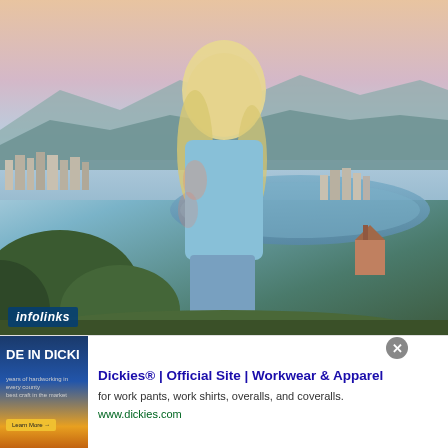[Figure (photo): Blonde woman in a blue floral long-sleeve top and ripped jeans, posing on a hilltop overlooking a cityscape with harbour and mountains in the background, under a pastel sky.]
infolinks
[Figure (photo): Advertisement thumbnail showing 'DE IN DICKI' text on dark blue background with orange/yellow sunset and a Learn More button.]
Dickies® | Official Site | Workwear & Apparel
for work pants, work shirts, overalls, and coveralls.
www.dickies.com